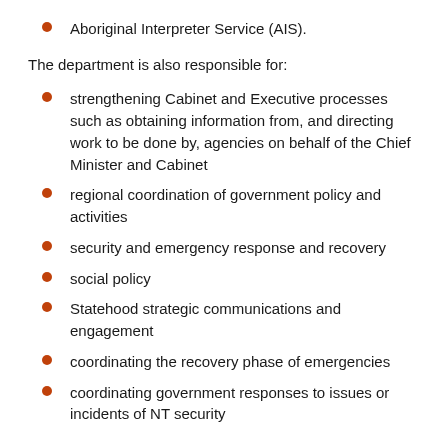Aboriginal Interpreter Service (AIS).
The department is also responsible for:
strengthening Cabinet and Executive processes such as obtaining information from, and directing work to be done by, agencies on behalf of the Chief Minister and Cabinet
regional coordination of government policy and activities
security and emergency response and recovery
social policy
Statehood strategic communications and engagement
coordinating the recovery phase of emergencies
coordinating government responses to issues or incidents of NT security